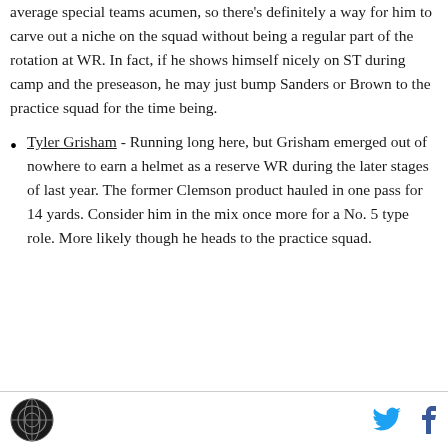average special teams acumen, so there's definitely a way for him to carve out a niche on the squad without being a regular part of the rotation at WR. In fact, if he shows himself nicely on ST during camp and the preseason, he may just bump Sanders or Brown to the practice squad for the time being.
Tyler Grisham - Running long here, but Grisham emerged out of nowhere to earn a helmet as a reserve WR during the later stages of last year. The former Clemson product hauled in one pass for 14 yards. Consider him in the mix once more for a No. 5 type role. More likely though he heads to the practice squad.
[logo] [twitter] [facebook]